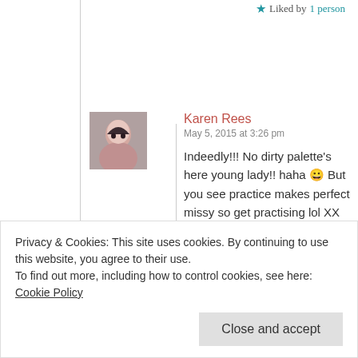★ Liked by 1 person
Karen Rees
May 5, 2015 at 3:26 pm
Indeedly!!! No dirty palette's here young lady!! haha 😀 But you see practice makes perfect missy so get practising lol XX
★ Liked by 1 person
Privacy & Cookies: This site uses cookies. By continuing to use this website, you agree to their use.
To find out more, including how to control cookies, see here: Cookie Policy
Close and accept
content. Happy salad Tuesday!! Let's